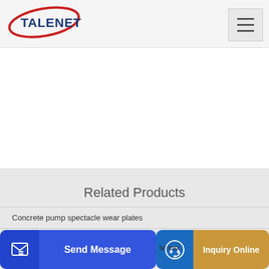[Figure (logo): TALENET logo with red swoosh and blue text]
[Figure (other): Hamburger menu icon (three horizontal lines)]
Related Products
Concrete pump spectacle wear plates
MITSUBISHI FUSO concrete mixer truck for sale China
[Figure (other): Send Message button with icon]
[Figure (other): Inquiry Online button with icon]